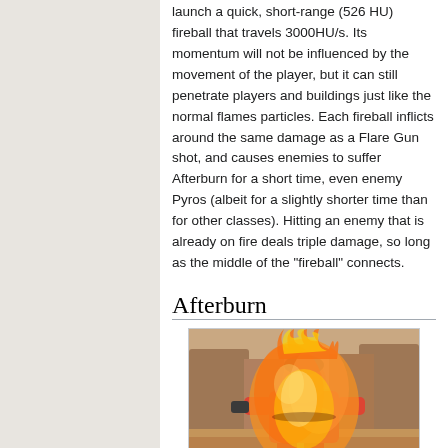launch a quick, short-range (526 HU) fireball that travels 3000HU/s. Its momentum will not be influenced by the movement of the player, but it can still penetrate players and buildings just like the normal flames particles. Each fireball inflicts around the same damage as a Flare Gun shot, and causes enemies to suffer Afterburn for a short time, even enemy Pyros (albeit for a slightly shorter time than for other classes). Hitting an enemy that is already on fire deals triple damage, so long as the middle of the "fireball" connects.
Afterburn
[Figure (photo): A Team Fortress 2 Heavy character engulfed in flames (Afterburn effect), set in a desert/dusty environment. The character appears to be on fire with orange and red flames surrounding them.]